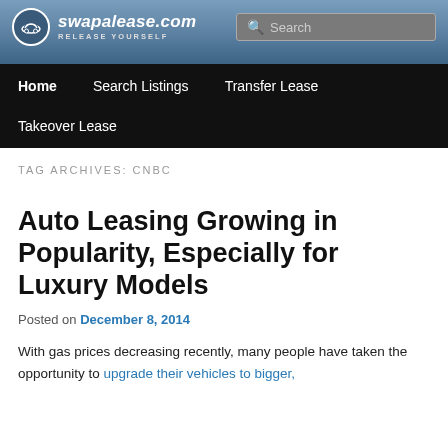[Figure (logo): swapalease.com website header with logo, tagline RELEASE YOURSELF, search bar, navigation menu with Home, Search Listings, Transfer Lease, Takeover Lease]
swapalease.com | RELEASE YOURSELF | Home | Search Listings | Transfer Lease | Takeover Lease
TAG ARCHIVES: CNBC
Auto Leasing Growing in Popularity, Especially for Luxury Models
Posted on December 8, 2014
With gas prices decreasing recently, many people have taken the opportunity to upgrade their vehicles to bigger,